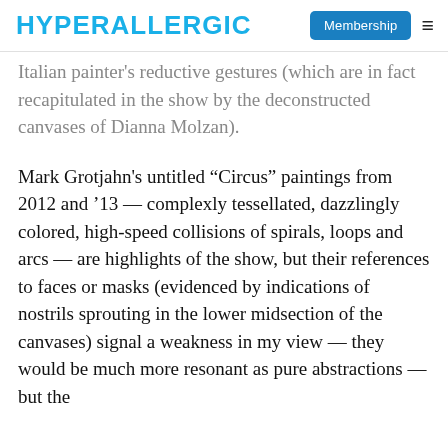HYPERALLERGIC | Membership
Italian painter’s reductive gestures (which are in fact recapitulated in the show by the deconstructed canvases of Dianna Molzan).
Mark Grotjahn’s untitled “Circus” paintings from 2012 and ‘13 — complexly tessellated, dazzlingly colored, high-speed collisions of spirals, loops and arcs — are highlights of the show, but their references to faces or masks (evidenced by indications of nostrils sprouting in the lower midsection of the canvases) signal a weakness in my view — they would be much more resonant as pure abstractions — but the